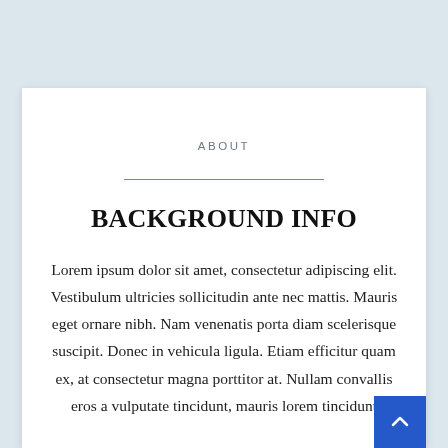ABOUT
BACKGROUND INFO
Lorem ipsum dolor sit amet, consectetur adipiscing elit. Vestibulum ultricies sollicitudin ante nec mattis. Mauris eget ornare nibh. Nam venenatis porta diam scelerisque suscipit. Donec in vehicula ligula. Etiam efficitur quam ex, at consectetur magna porttitor at. Nullam convallis eros a vulputate tincidunt, mauris lorem tincidunt